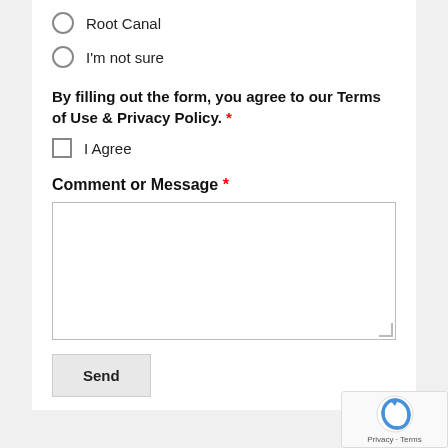Root Canal
I'm not sure
By filling out the form, you agree to our Terms of Use & Privacy Policy. *
I Agree
Comment or Message *
[text area]
Send
[Figure (logo): reCAPTCHA badge with Privacy and Terms links]